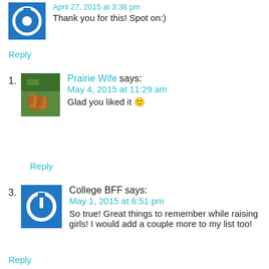Thank you for this! Spot on:)
Reply
1. Prairie Wife says: May 4, 2015 at 11:29 am — Glad you liked it 🙂
Reply
3. College BFF says: May 1, 2015 at 6:51 pm — So true! Great things to remember while raising girls! I would add a couple more to my list too!
Reply